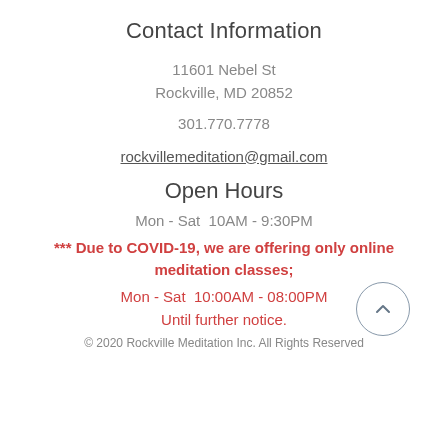Contact Information
11601 Nebel St
Rockville, MD 20852
301.770.7778
rockvillemeditation@gmail.com
Open Hours
Mon - Sat  10AM - 9:30PM
*** Due to COVID-19, we are offering only online meditation classes;
Mon - Sat  10:00AM - 08:00PM
Until further notice.
© 2020 Rockville Meditation Inc. All Rights Reserved